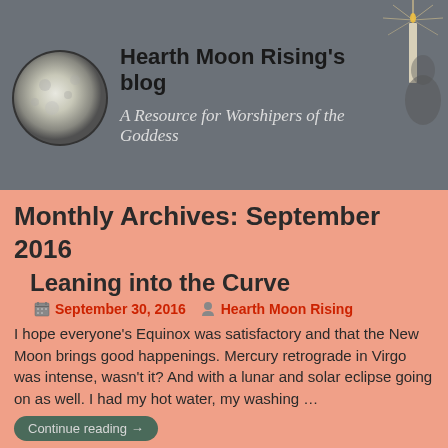Hearth Moon Rising's blog — A Resource for Worshipers of the Goddess
Monthly Archives: September 2016
Leaning into the Curve
September 30, 2016   Hearth Moon Rising
I hope everyone's Equinox was satisfactory and that the New Moon brings good happenings. Mercury retrograde in Virgo was intense, wasn't it? And with a lunar and solar eclipse going on as well. I had my hot water, my washing …
Continue reading →
Adirondacks